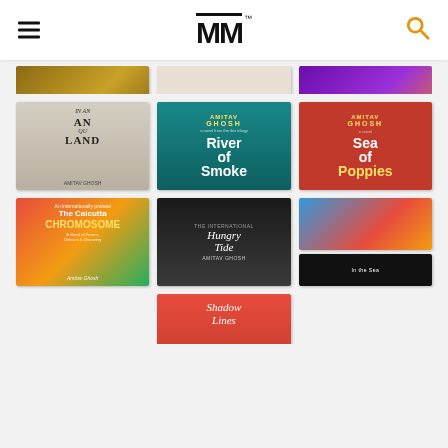[Figure (logo): MM logo with hamburger menu and search icon in top header bar]
[Figure (photo): Grid of book covers by Amitav Ghosh and related authors. Row 1 (partial): Ghosh cover (gold/brown), Stephen Mitchell translation, purple/orange cover. Row 2: In an Antique Land, River of Smoke (teal), Sea of Poppies (red). Row 3: The Calcutta Chromosome (red/green), Hungry Tide (dark), In an Indian cover (blue/red) with black Penguin edition below. Row 4 (partial): Shadow Lines (red).]